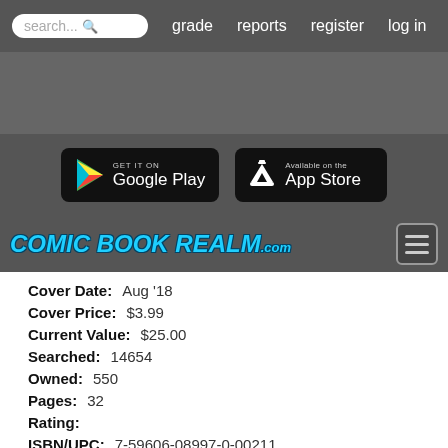search... grade reports register log in
[Figure (logo): Comic Book Realm .com logo with Google Play and App Store download buttons]
Cover Date: Aug '18
Cover Price: $3.99
Current Value: $25.00
Searched: 14654
Owned: 550
Pages: 32
Rating:
ISBN/UPC: 7-59606-08997-0-00211
Est. Print Run:
Variant of: